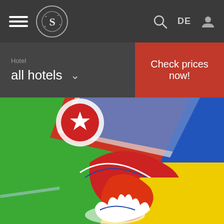[Figure (screenshot): Mobile hotel booking app UI with dark navigation bar containing hamburger menu, circular logo with S letter, search icon, DE language selector, and user profile icon. Below is a hotel selector dropdown showing 'all hotels' with a red 'Check prices now!' button. The bottom portion shows a colorful abstract pop-art style illustration with bright green, red, blue, yellow colors.]